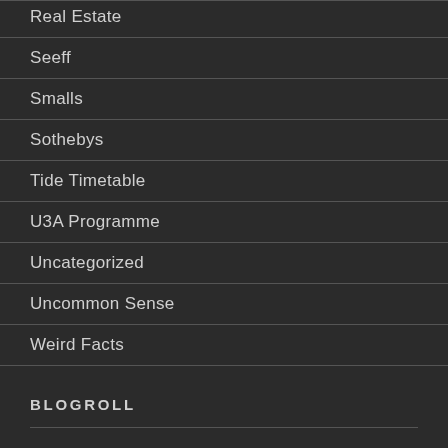Real Estate
Seeff
Smalls
Sothebys
Tide Timetable
U3A Programme
Uncategorized
Uncommon Sense
Weird Facts
BLOGROLL